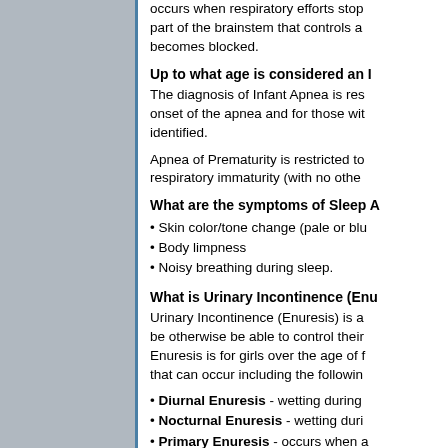occurs when respiratory efforts stop... part of the brainstem that controls a... becomes blocked.
Up to what age is considered an I...
The diagnosis of Infant Apnea is res... onset of the apnea and for those wit... identified.
Apnea of Prematurity is restricted to... respiratory immaturity (with no othe...
What are the symptoms of Sleep A...
• Skin color/tone change (pale or blu...
• Body limpness
• Noisy breathing during sleep.
What is Urinary Incontinence (Enu...
Urinary Incontinence (Enuresis) is a... be otherwise be able to control their... Enuresis is for girls over the age of f... that can occur including the followin...
• Diurnal Enuresis - wetting during...
• Nocturnal Enuresis - wetting duri...
• Primary Enuresis - occurs when a...
• Secondary Enuresis - occurs whe...
What causes Urinary Incontinence...